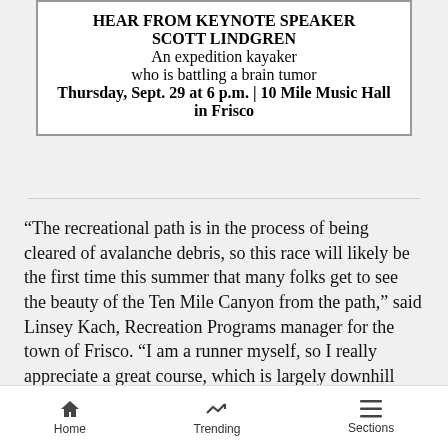[Figure (other): Promotional box for keynote speaker Scott Lindgren]
HEAR FROM KEYNOTE SPEAKER SCOTT LINDGREN
An expedition kayaker who is battling a brain tumor
Thursday, Sept. 29 at 6 p.m. | 10 Mile Music Hall in Frisco
“The recreational path is in the process of being cleared of avalanche debris, so this race will likely be the first time this summer that many folks get to see the beauty of the Ten Mile Canyon from the path,” said Linsey Kach, Recreation Programs manager for the town of Frisco. “I am a runner myself, so I really appreciate a great course, which is largely downhill and eases you into the summer running season with mind-occupying views.”
A gun a… or 8
[Figure (screenshot): Seamless food delivery advertisement banner with ORDER NOW button]
Home   Trending   Sections